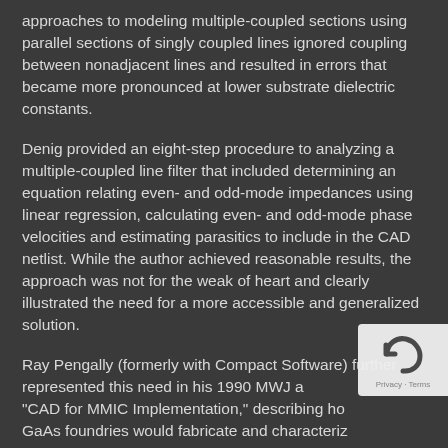approaches to modeling multiple-coupled sections using parallel sections of singly coupled lines ignored coupling between nonadjacent lines and resulted in errors that became more pronounced at lower substrate dielectric constants.
Denig provided an eight-step procedure to analyzing a multiple-coupled line filter that included determining an equation relating even- and odd-mode impedances using linear regression, calculating even- and odd-mode phase velocities and estimating parasitics to include in the CAD netlist. While the author achieved reasonable results, the approach was not for the weak of heart and clearly illustrated the need for a more accessible and generalized solution.
Ray Pengally (formerly with Compact Software) further represented this need in his 1990 MWJ article "CAD for MMIC Implementation," describing how GaAs foundries would fabricate and characterize...